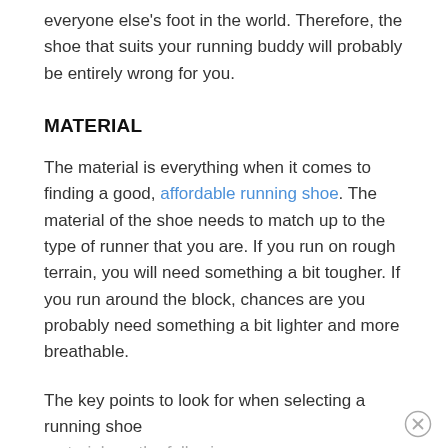everyone else's foot in the world. Therefore, the shoe that suits your running buddy will probably be entirely wrong for you.
MATERIAL
The material is everything when it comes to finding a good, affordable running shoe. The material of the shoe needs to match up to the type of runner that you are. If you run on rough terrain, you will need something a bit tougher. If you run around the block, chances are you probably need something a bit lighter and more breathable.
The key points to look for when selecting a running shoe material are the following: